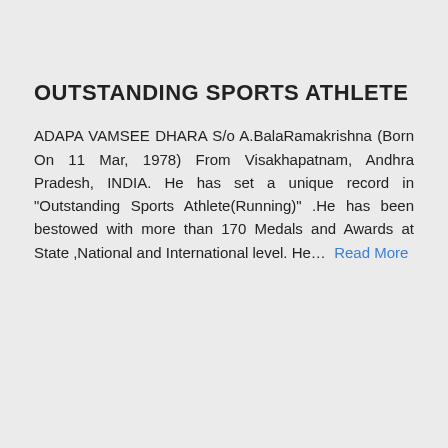OUTSTANDING SPORTS ATHLETE
ADAPA VAMSEE DHARA S/o A.BalaRamakrishna (Born On 11 Mar, 1978) From Visakhapatnam, Andhra Pradesh, INDIA. He has set a unique record in "Outstanding Sports Athlete(Running)" .He has been bestowed with more than 170 Medals and Awards at State ,National and International level. He… Read More